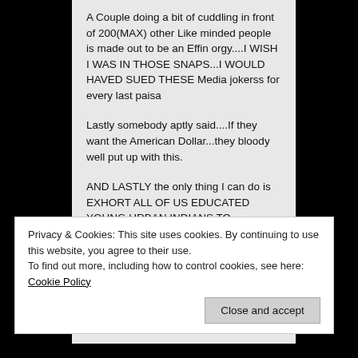A Couple doing a bit of cuddling in front of 200(MAX) other Like minded people is made out to be an Effin orgy....I WISH I WAS IN THOSE SNAPS...I WOULD HAVED SUED THESE Media jokerss for every last paisa
Lastly somebody aptly said....If they want the American Dollar...they bloody well put up with this.
AND LASTLY the only thing I can do is EXHORT ALL OF US EDUCATED YOUNG URBAN INDIANS TO VOTE...only if we vote and take an active part in the say of this GREATEST country of ours will things improve
Privacy & Cookies: This site uses cookies. By continuing to use this website, you agree to their use.
To find out more, including how to control cookies, see here: Cookie Policy
Close and accept